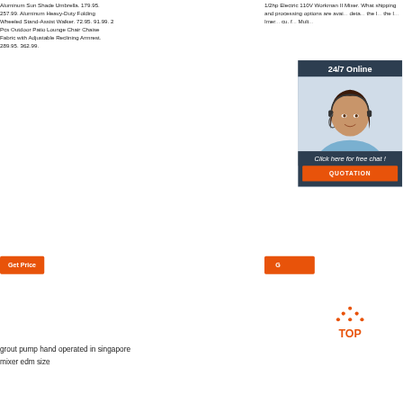Aluminum Sun Shade Umbrella. 179.95. 257.99. Aluminum Heavy-Duty Folding Wheeled Stand-Assist Walker. 72.95. 91.99. 2 Pcs Outdoor Patio Lounge Chair Chaise Fabric with Adjustable Reclining Armrest. 289.95. 362.99.
[Figure (other): Orange 'Get Price' button on left side]
1/2hp Electric 110V Workman II Mixer. What shipping and processing options are avai... deta... the l... the l... Imer... cu. f... Mult...
[Figure (other): Chat popup overlay with agent photo, '24/7 Online' header, 'Click here for free chat!' text, orange QUOTATION button, and partial 'Get Price' button]
[Figure (other): Orange and dotted 'TOP' back-to-top icon]
grout pump hand operated in singapore
mixer edm size